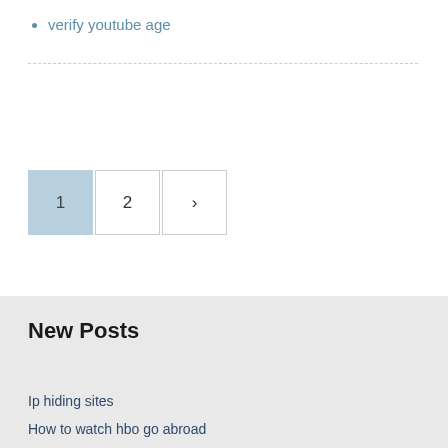verify youtube age
1 2 >
New Posts
Ip hiding sites
How to watch hbo go abroad